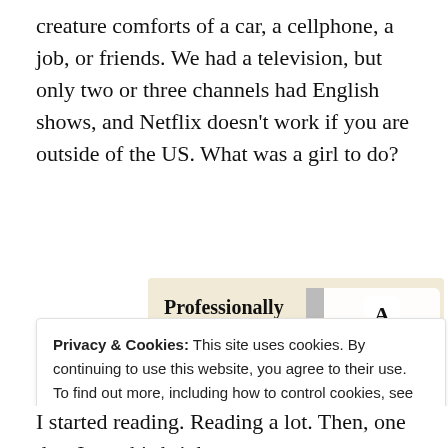creature comforts of a car, a cellphone, a job, or friends. We had a television, but only two or three channels had English shows, and Netflix doesn’t work if you are outside of the US. What was a girl to do?
[Figure (infographic): Advertisement banner with beige background showing 'Professionally designed sites in less than a week' text and a green 'Explore options' button, with mock website screenshots on the right side.]
Privacy & Cookies: This site uses cookies. By continuing to use this website, you agree to their use.
To find out more, including how to control cookies, see here: Cookie Policy
I started reading. Reading a lot. Then, one day, I got this bright